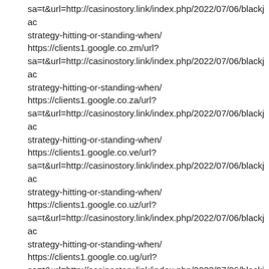sa=t&url=http://casinostory.link/index.php/2022/07/06/blackjac strategy-hitting-or-standing-when/ https://clients1.google.co.zm/url? sa=t&url=http://casinostory.link/index.php/2022/07/06/blackjac strategy-hitting-or-standing-when/ https://clients1.google.co.za/url? sa=t&url=http://casinostory.link/index.php/2022/07/06/blackjac strategy-hitting-or-standing-when/ https://clients1.google.co.ve/url? sa=t&url=http://casinostory.link/index.php/2022/07/06/blackjac strategy-hitting-or-standing-when/ https://clients1.google.co.uz/url? sa=t&url=http://casinostory.link/index.php/2022/07/06/blackjac strategy-hitting-or-standing-when/ https://clients1.google.co.ug/url? sa=t&url=http://casinostory.link/index.php/2022/07/06/blackjac strategy-hitting-or-standing-when/ https://clients1.google.co.th/url? sa=t&url=http://casinostory.link/index.php/2022/07/06/blackjac strategy-hitting-or-standing-when/ https://clients1.google.co.nz/url? sa=t&url=http://casinostory.link/index.php/2022/07/06/blackjac